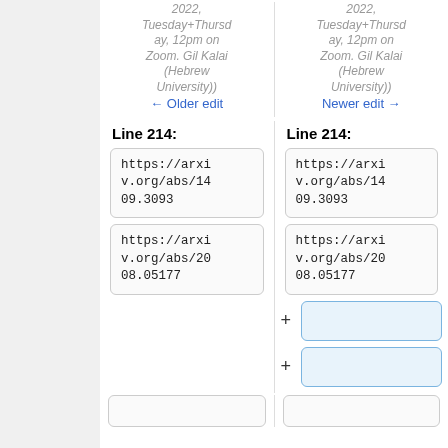2022, Tuesday+Thursday, 12pm on Zoom. Gil Kalai (Hebrew University))
2022, Tuesday+Thursday, 12pm on Zoom. Gil Kalai (Hebrew University))
← Older edit
Newer edit →
Line 214:
Line 214:
https://arxiv.org/abs/1409.3093
https://arxiv.org/abs/1409.3093
https://arxiv.org/abs/2008.05177
https://arxiv.org/abs/2008.05177